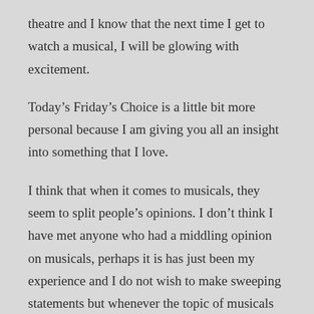theatre and I know that the next time I get to watch a musical, I will be glowing with excitement.
Today’s Friday’s Choice is a little bit more personal because I am giving you all an insight into something that I love.
I think that when it comes to musicals, they seem to split people’s opinions. I don’t think I have met anyone who had a middling opinion on musicals, perhaps it is has just been my experience and I do not wish to make sweeping statements but whenever the topic of musicals has come up in conversation, my experience has always been that people tell me that they love musicals or they hate them. There has not been much in-between.